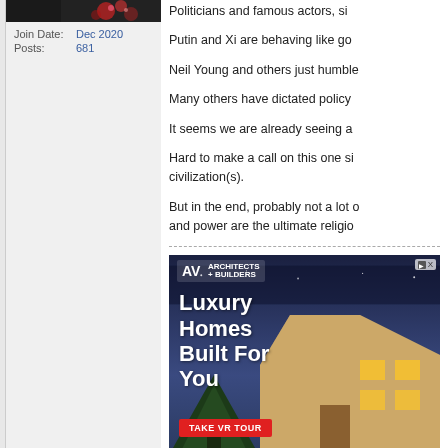[Figure (photo): User avatar — partial image showing dark background with red/pink flowers or decorative elements]
Join Date: Dec 2020
Posts: 681
Politicians and famous actors, si
Putin and Xi are behaving like go
Neil Young and others just humble
Many others have dictated policy
It seems we are already seeing a
Hard to make a call on this one si civilization(s).
But in the end, probably not a lot and power are the ultimate religio
[Figure (photo): Advertisement for Architects + Builders luxury homes. Shows a modern house at night with text 'Luxury Homes Built For You' and a red 'TAKE VR TOUR' button.]